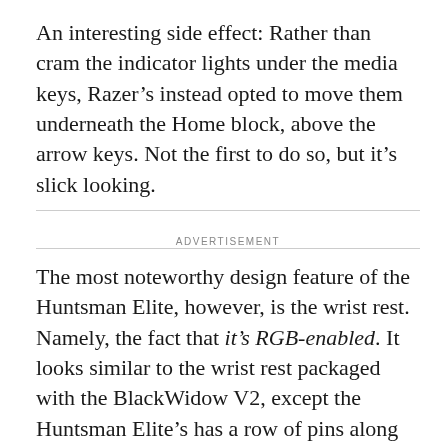An interesting side effect: Rather than cram the indicator lights under the media keys, Razer's instead opted to move them underneath the Home block, above the arrow keys. Not the first to do so, but it's slick looking.
ADVERTISEMENT
The most noteworthy design feature of the Huntsman Elite, however, is the wrist rest. Namely, the fact that it's RGB-enabled. It looks similar to the wrist rest packaged with the BlackWidow V2, except the Huntsman Elite's has a row of pins along the top edge. When connected to the Huntsman keyboard, the wrist rest continues a ribbon of light that rings the entire base of the keyboard (as seen below).